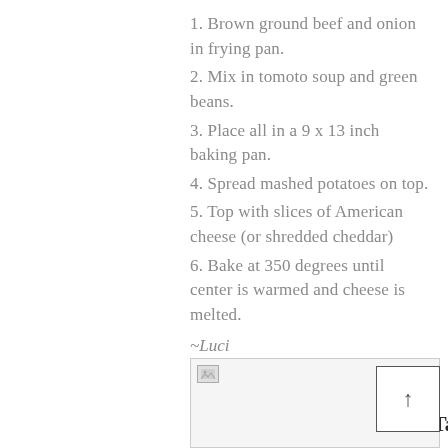1. Brown ground beef and onion in frying pan.
2. Mix in tomoto soup and green beans.
3. Place all in a 9 x 13 inch baking pan.
4. Spread mashed potatoes on top.
5. Top with slices of American cheese (or shredded cheddar)
6. Bake at 350 degrees until center is warmed and cheese is melted.
~Luci
[Figure (photo): Image placeholder with broken image icon]
Tags: food on a